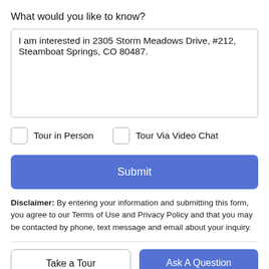What would you like to know?
I am interested in 2305 Storm Meadows Drive, #212, Steamboat Springs, CO 80487.
Tour in Person
Tour Via Video Chat
Submit
Disclaimer: By entering your information and submitting this form, you agree to our Terms of Use and Privacy Policy and that you may be contacted by phone, text message and email about your inquiry.
Take a Tour
Ask A Question